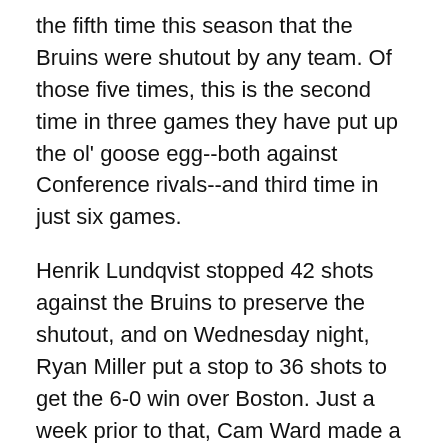the fifth time this season that the Bruins were shutout by any team. Of those five times, this is the second time in three games they have put up the ol' goose egg--both against Conference rivals--and third time in just six games.
Henrik Lundqvist stopped 42 shots against the Bruins to preserve the shutout, and on Wednesday night, Ryan Miller put a stop to 36 shots to get the 6-0 win over Boston. Just a week prior to that, Cam Ward made a statement, shutting the Bruins down in a 47-save, 3-0 shutout win.
So, if my math serves me correctly, the Bruins put up 125 shots in three games, without scoring a single goal. That's averaging nearly 42 shots per game with nothing to show for it.